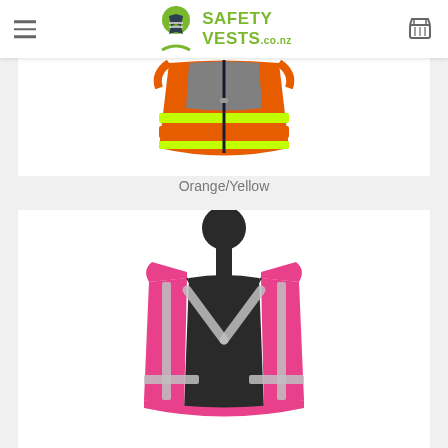SafetyVests.co.nz
[Figure (photo): Orange and yellow safety vest displayed from the back, showing reflective strips and zipper]
Orange/Yellow
[Figure (photo): Pink safety vest on a mannequin, front view, with reflective silver strips]